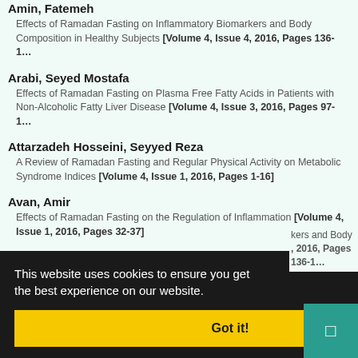Amin, Fatemeh — Effects of Ramadan Fasting on Inflammatory Biomarkers and Body Composition in Healthy Subjects [Volume 4, Issue 4, 2016, Pages 136-1...]
Arabi, Seyed Mostafa — Effects of Ramadan Fasting on Plasma Free Fatty Acids in Patients with Non-Alcoholic Fatty Liver Disease [Volume 4, Issue 3, 2016, Pages 97-1...]
Attarzadeh Hosseini, Seyyed Reza — A Review of Ramadan Fasting and Regular Physical Activity on Metabolic Syndrome Indices [Volume 4, Issue 1, 2016, Pages 1-16]
Avan, Amir — Effects of Ramadan Fasting on the Regulation of Inflammation [Volume 4, Issue 1, 2016, Pages 32-37]
Azimi Nezhad, Mohsen — ...kers and Body ..., 2016, Pages 136-1...
This website uses cookies to ensure you get the best experience on our website.
Got it!